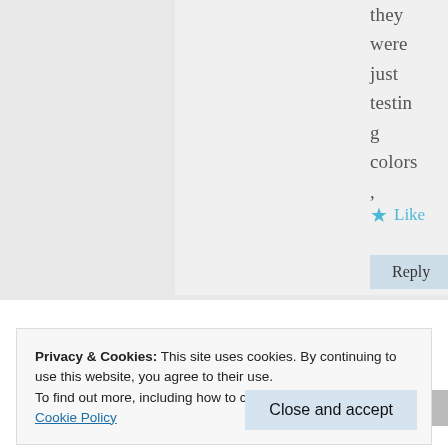they were just testing colors ,
★ Like
Reply
Privacy & Cookies: This site uses cookies. By continuing to use this website, you agree to their use.
To find out more, including how to control cookies, see here: Cookie Policy
Close and accept